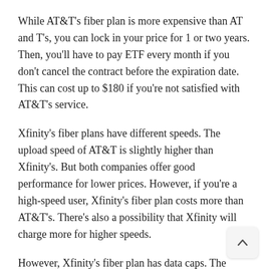While AT&T's fiber plan is more expensive than AT and T's, you can lock in your price for 1 or two years. Then, you'll have to pay ETF every month if you don't cancel the contract before the expiration date. This can cost up to $180 if you're not satisfied with AT&T's service.
Xfinity's fiber plans have different speeds. The upload speed of AT&T is slightly higher than Xfinity's. But both companies offer good performance for lower prices. However, if you're a high-speed user, Xfinity's fiber plan costs more than AT&T's. There's also a possibility that Xfinity will charge more for higher speeds.
However, Xfinity's fiber plan has data caps. The company's Gigabit Pro plans come with a 1.2 TB cap. In the Northeast, the company has withdrawn its data cap for fiber plans, although it lifted it in the past after pressure from the public. It's not easy to estimate how much data you use if you have a home full of data-hungry devices.